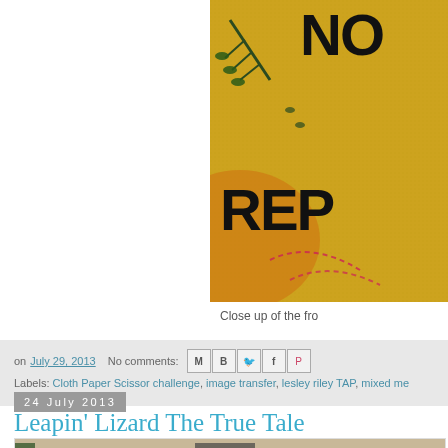[Figure (photo): Close up photo of embroidered/mixed media textile with yellow background, dark green foliage, text partially visible reading 'NO' and 'REP', with decorative stitching]
Close up of the fro
on July 29, 2013   No comments:
Labels: Cloth Paper Scissor challenge, image transfer, lesley riley TAP, mixed me... transfer artist paper
24 July 2013
Leapin' Lizard The True Tale
[Figure (photo): Partial photo at bottom of page showing what appears to be a lizard scene with brown/tan background and dark figure]